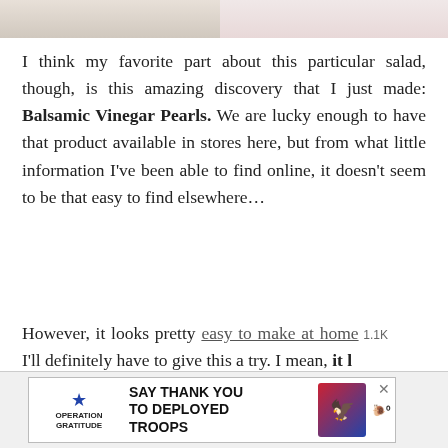[Figure (photo): Two partial food photos cropped at the top of the page, side by side]
I think my favorite part about this particular salad, though, is this amazing discovery that I just made: Balsamic Vinegar Pearls. We are lucky enough to have that product available in stores here, but from what little information I've been able to find online, it doesn't seem to be that easy to find elsewhere…
However, it looks pretty easy to make at home, I'll definitely have to give this a try. I mean, it looks easy AND fun, and the end result is just so yummy I mean, I could literally eat that stuff by t…
[Figure (screenshot): Social sharing UI overlay: heart button with teal circle (1.1K count), share icon, and What's Next widget showing Shrimp Avocado thumbnail]
[Figure (screenshot): Advertisement banner for Operation Gratitude: SAY THANK YOU TO DEPLOYED TROOPS with patriotic imagery and WWF logo]